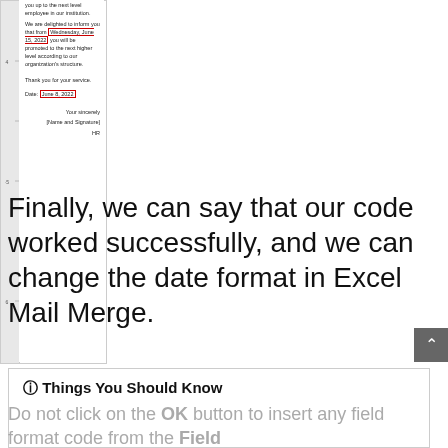[Figure (screenshot): A letter document preview showing promotion notification text with red-bordered date highlights for 'Wednesday, June 15, 2022' and 'June 8, 2022', with closing 'Your sincerely', '[Name and Signature]', 'HR']
Finally, we can say that our code worked successfully, and we can change the date format in Excel Mail Merge.
🛈 Things You Should Know
Do not click on the OK button to insert any field format code from the Field